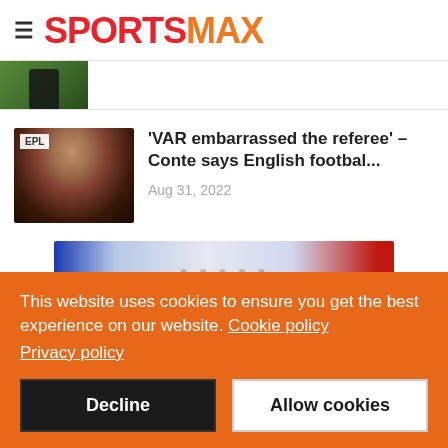SPORTSMAX
[Figure (photo): Partial thumbnail of a sports figure on a green field background, cropped at top]
[Figure (photo): Antonio Conte shouting with EPL badge overlay, dark background]
'VAR embarrassed the referee' – Conte says English footbal...
Aug 31, 2022
[Figure (photo): Partial banner image with French flag colors (blue, white, red) and partially visible text]
This website uses cookies to ensure you get the best experience on our website. Cookie policy
Privacy policy
Decline
Allow cookies